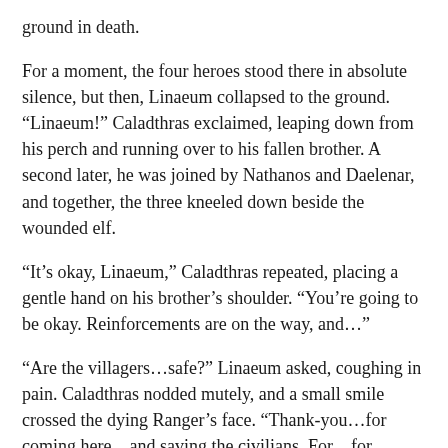ground in death.
For a moment, the four heroes stood there in absolute silence, but then, Linaeum collapsed to the ground. “Linaeum!” Caladthras exclaimed, leaping down from his perch and running over to his fallen brother. A second later, he was joined by Nathanos and Daelenar, and together, the three kneeled down beside the wounded elf.
“It’s okay, Linaeum,” Caladthras repeated, placing a gentle hand on his brother’s shoulder. “You’re going to be okay. Reinforcements are on the way, and…”
“Are the villagers…safe?” Linaeum asked, coughing in pain. Caladthras nodded mutely, and a small smile crossed the dying Ranger’s face. “Thank-you…for coming here…and saving the civilians. For…for making my sacrifice worth-while…”
A heavy fog descended over Linaeum’s mind. A distant horn